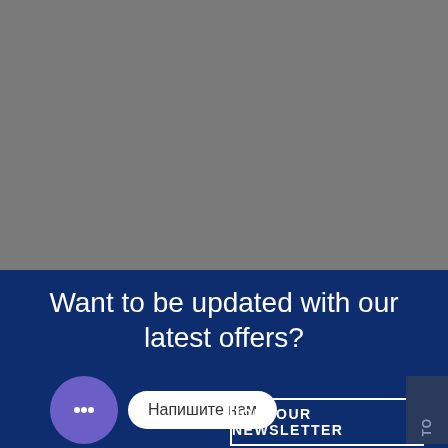[Figure (photo): Gray background hero image section of a website]
This is Kallyas Theme, an epic and
Want to be updated with our latest offers?
[Figure (illustration): Purple chat bubble icon widget with text 'Напишите нам']
JOIN OUR NEWSLETTER